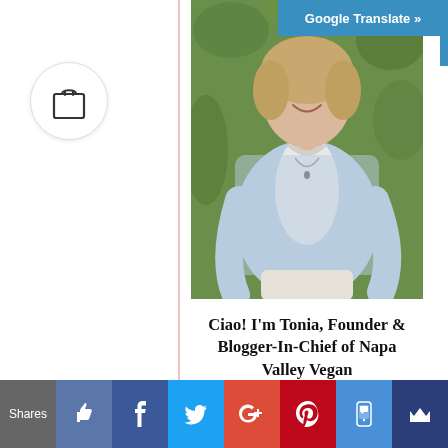[Figure (screenshot): Google Translate button bar at top right, blue background with white bold text 'Google Translate »']
[Figure (illustration): Shopping bag icon inside a white circle with light border, positioned on left side]
[Figure (photo): Photo of a smiling woman with blonde hair wearing a light blue linen shirt over a white top, standing in front of green foliage, hands behind back]
Ciao! I'm Tonia, Founder & Blogger-In-Chief of Napa Valley Vegan
My adventures began in Napa Valley in
[Figure (screenshot): Social share bar at bottom with Shares label, like/thumbs-up, Facebook, Twitter, Google+, Pinterest, SMS, and crown icons on colored buttons]